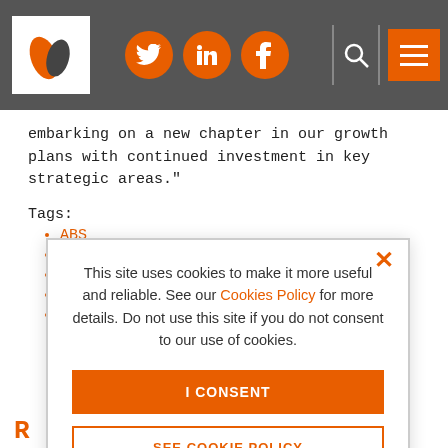Header bar with logo, Twitter, LinkedIn, Facebook social icons, search, and menu button
embarking on a new chapter in our growth plans with continued investment in key strategic areas."
Tags:
ABS
Alternative business structures
conveyancing
Jackson report
personal injury
This site uses cookies to make it more useful and reliable. See our Cookies Policy for more details. Do not use this site if you do not consent to our use of cookies.
I CONSENT
SEE COOKIE POLICY